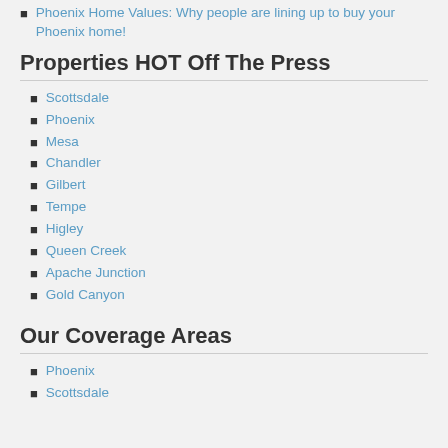Phoenix Home Values: Why people are lining up to buy your Phoenix home!
Properties HOT Off The Press
Scottsdale
Phoenix
Mesa
Chandler
Gilbert
Tempe
Higley
Queen Creek
Apache Junction
Gold Canyon
Our Coverage Areas
Phoenix
Scottsdale